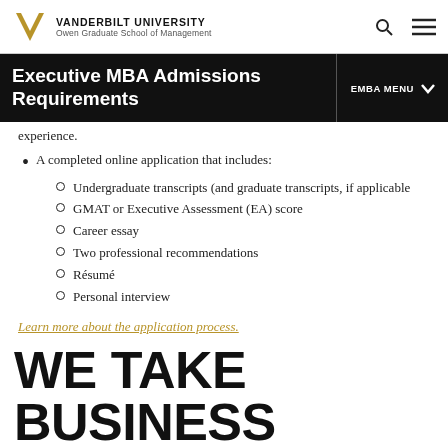VANDERBILT UNIVERSITY Owen Graduate School of Management
Executive MBA Admissions Requirements
experience.
A completed online application that includes:
Undergraduate transcripts (and graduate transcripts, if applicable
GMAT or Executive Assessment (EA) score
Career essay
Two professional recommendations
Résumé
Personal interview
Learn more about the application process.
WE TAKE BUSINESS